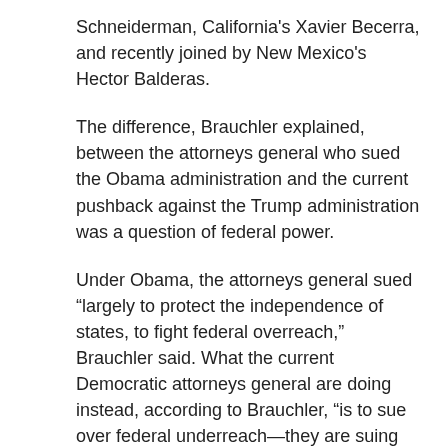Schneiderman, California's Xavier Becerra, and recently joined by New Mexico's Hector Balderas.
The difference, Brauchler explained, between the attorneys general who sued the Obama administration and the current pushback against the Trump administration was a question of federal power.
Under Obama, the attorneys general sued “largely to protect the independence of states, to fight federal overreach,” Brauchler said. What the current Democratic attorneys general are doing instead, according to Brauchler, “is to sue over federal underreach—they are suing the government for playing less of a role in our state” on issues like energy and the environment.
Levin and Brauchler were deeply divided over whether the next attorney general should accept